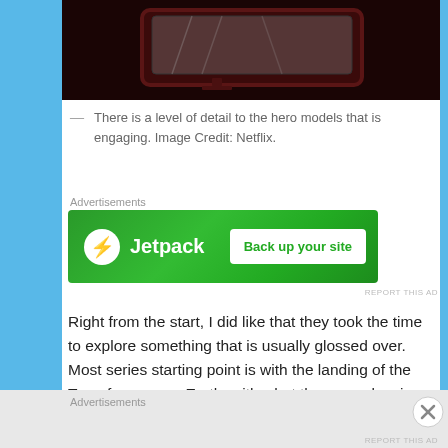[Figure (photo): Dark screenshot of a scene with a TV/monitor screen, reddish-dark tones, appears to be from an animated or live-action show]
— There is a level of detail to the hero models that is engaging. Image Credit: Netflix.
Advertisements
[Figure (other): Jetpack advertisement banner with green background showing Jetpack logo and 'Back up your site' button]
REPORT THIS AD
Right from the start, I did like that they took the time to explore something that is usually glossed over. Most series starting point is with the landing of the Transformers on Earth, with what they were leaving more of a footnote than anything else. They have also taken what is usually a simple binary conflict and created some
Advertisements
REPORT THIS AD